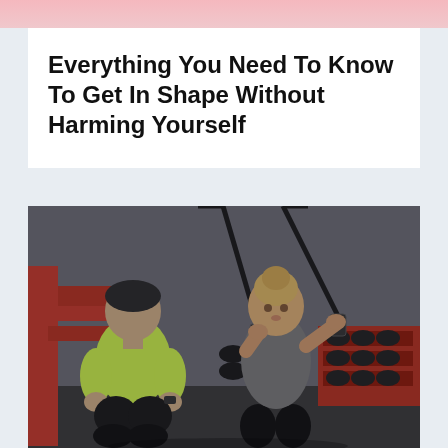Everything You Need To Know To Get In Shape Without Harming Yourself
[Figure (photo): A woman performing TRX suspension training exercises leaning forward with straps in a gym setting, while a male trainer in a yellow-green shirt crouches nearby observing. Red equipment racks with dumbbells visible in the background.]